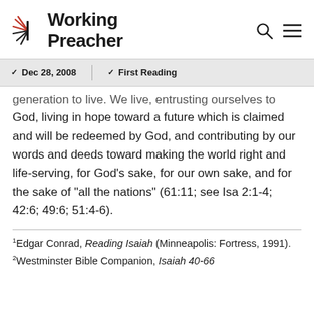Working Preacher
Dec 28, 2008 | First Reading
generation to live. We live, entrusting ourselves to God, living in hope toward a future which is claimed and will be redeemed by God, and contributing by our words and deeds toward making the world right and life-serving, for God’s sake, for our own sake, and for the sake of “all the nations” (61:11; see Isa 2:1-4; 42:6; 49:6; 51:4-6).
1Edgar Conrad, Reading Isaiah (Minneapolis: Fortress, 1991).
2Westminster Bible Companion, Isaiah 40-66